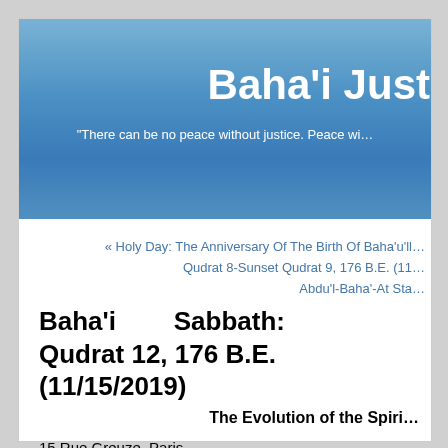Baha'i Jus…
"There can be no peace without justice. Peace wi…
« Holy Day: The Anniversary Of The Birth Of Baha'u'll…
Qudrat 8-Sunset Qudrat 9, 176 B.E. (11…
Abdu'l-Baha'-At Sta…
Baha'i Sabbath: Qudrat 12, 176 B.E. (11/15/2019)
The Evolution of the Spiri…
15 Rue Greuze, Paris,
November 10th
'ABDU'L-BAHÁ said: